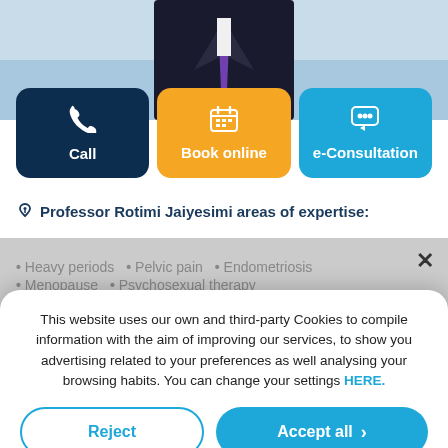[Figure (screenshot): Screenshot of a medical doctor profile page (Professor Rotimi Jaiyesimi) showing a man in a suit at top, three action buttons (Call, Book online, e-Consultation), areas of expertise list, and a cookie consent modal overlay with Reject and Accept all buttons, plus Custom configuration, Cookies Policy, and Privacy Policy links.]
Call
Book online
e-Consultation
Professor Rotimi Jaiyesimi areas of expertise:
Heavy periods
Pelvic pain
Endometriosis
Menopause
Psychosexual therapy
This website uses our own and third-party Cookies to compile information with the aim of improving our services, to show you advertising related to your preferences as well analysing your browsing habits. You can change your settings HERE.
Reject
Accept all
Custom configuration | Cookies Policy | Privacy Policy